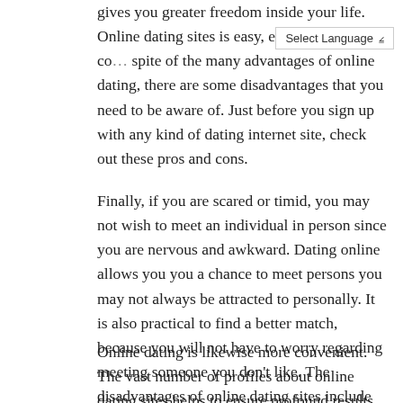gives you greater freedom inside your life. Online dating sites is easy, effortless, and co… spite of the many advantages of online dating, there are some disadvantages that you need to be aware of. Just before you sign up with any kind of dating internet site, check out these pros and cons.
Finally, if you are scared or timid, you may not wish to meet an individual in person since you are nervous and awkward. Dating online allows you you a chance to meet persons you may not always be attracted to personally. It is also practical to find a better match, because you will not have to worry regarding meeting someone you don't like. The disadvantages of online dating sites include the should be a bit more subtle about yourself.
Online dating is likewise more convenient. The vast number of profiles about online dating sites helps to ensure profound results for you to find a better